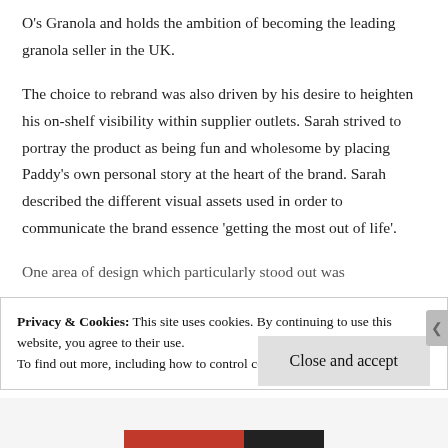O's Granola and holds the ambition of becoming the leading granola seller in the UK.
The choice to rebrand was also driven by his desire to heighten his on-shelf visibility within supplier outlets. Sarah strived to portray the product as being fun and wholesome by placing Paddy's own personal story at the heart of the brand. Sarah described the different visual assets used in order to communicate the brand essence 'getting the most out of life'.
One area of design which particularly stood out was
Privacy & Cookies: This site uses cookies. By continuing to use this website, you agree to their use.
To find out more, including how to control cookies, see here: Cookie Policy